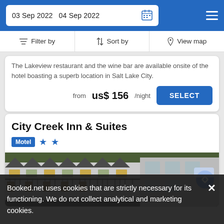03 Sep 2022  04 Sep 2022
Filter by  Sort by  View map
The Lakeview restaurant and the wine bar are available onsite of the hotel boasting a superb location in Salt Lake City.
from  us$ 156/night  SELECT
City Creek Inn & Suites
Motel ★★
[Figure (photo): Exterior photo of City Creek Inn & Suites motel building showing white facade with balconies/railings and parking area]
Booked.net uses cookies that are strictly necessary for its functioning. We do not collect analytical and marketing cookies.